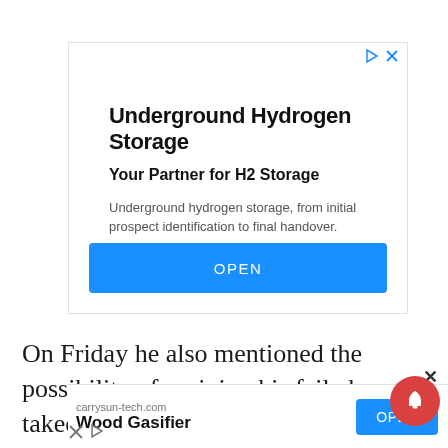[Figure (screenshot): Advertisement banner for Underground Hydrogen Storage with title, subtitle, body text, URL 'uest.at', and a blue OPEN button.]
On Friday he also mentioned the possibility of reviving his failed takeover bid of the energy
[Figure (screenshot): Bottom advertisement banner for carrysun-tech.com showing 'Wood Gasifier' with a blue OPEN button, x and play icons, and a red notification bell icon.]